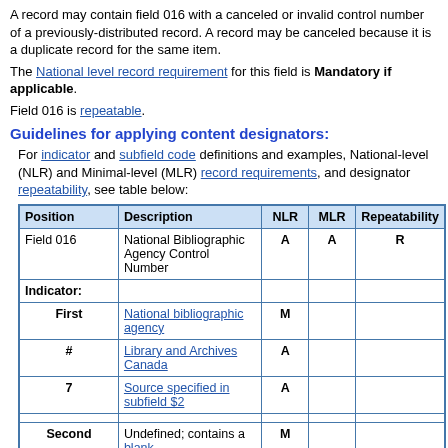A record may contain field 016 with a canceled or invalid control number of a previously-distributed record. A record may be canceled because it is a duplicate record for the same item.
The National level record requirement for this field is Mandatory if applicable.
Field 016 is repeatable.
Guidelines for applying content designators:
For indicator and subfield code definitions and examples, National-level (NLR) and Minimal-level (MLR) record requirements, and designator repeatability, see table below:
| Position | Description | NLR | MLR | Repeatability |
| --- | --- | --- | --- | --- |
| Field 016 | National Bibliographic Agency Control Number | A | A | R |
| Indicator: |  |  |  |  |
| First | National bibliographic agency | M |  |  |
| # | Library and Archives Canada | A |  |  |
| 7 | Source specified in subfield $2 | A |  |  |
|  |  |  |  |  |
| Second | Undefined; contains a blank | M |  |  |